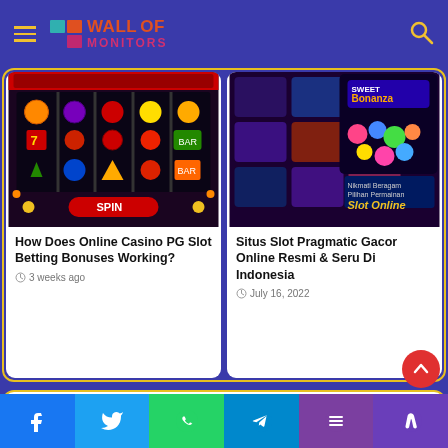Wall of Monitors
[Figure (screenshot): Slot machine game screenshot showing colorful fruit symbols]
How Does Online Casino PG Slot Betting Bonuses Working?
3 weeks ago
[Figure (screenshot): Pragmatic Play slot games promotional image featuring Sweet Bonanza and Slot Online]
Situs Slot Pragmatic Gacor Online Resmi & Seru Di Indonesia
July 16, 2022
Leave a Reply
You must be logged in to post a comment.
Social share bar: Facebook, Twitter, WhatsApp, Telegram, Phone